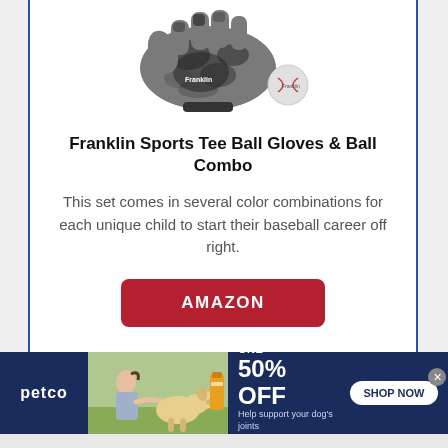[Figure (photo): Franklin Sports Tee Ball Glove and Ball combo product image showing a camo-patterned baseball glove and a small baseball]
Franklin Sports Tee Ball Gloves & Ball Combo
This set comes in several color combinations for each unique child to start their baseball career off right.
[Figure (other): Red AMAZON button linking to product page]
$16.99
[Figure (infographic): Petco advertisement banner: BUY ONE, GET ONE 50% OFF - Help support your dog's joints with a premium supplement. SHOP NOW button. Shows woman with dog and supplement bottle.]